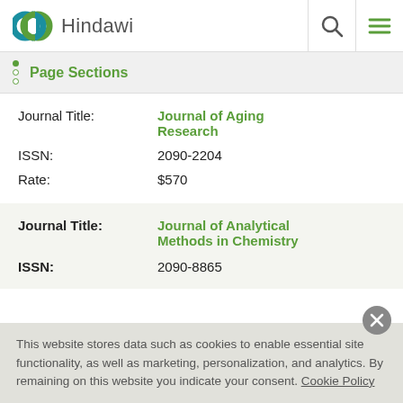Hindawi
Page Sections
Journal Title: Journal of Aging Research
ISSN: 2090-2204
Rate: $570
Journal Title: Journal of Analytical Methods in Chemistry
ISSN: 2090-8865
This website stores data such as cookies to enable essential site functionality, as well as marketing, personalization, and analytics. By remaining on this website you indicate your consent. Cookie Policy